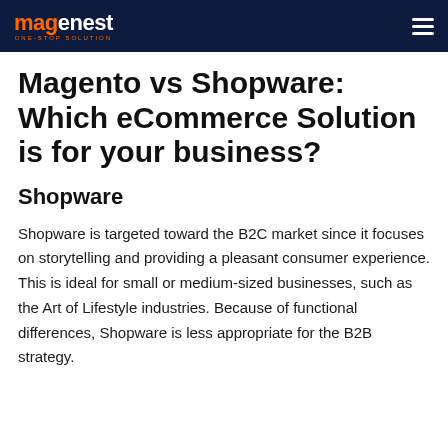magenest ONE-STOP SOLUTION
Magento vs Shopware: Which eCommerce Solution is for your business?
Shopware
Shopware is targeted toward the B2C market since it focuses on storytelling and providing a pleasant consumer experience. This is ideal for small or medium-sized businesses, such as the Art of Lifestyle industries. Because of functional differences, Shopware is less appropriate for the B2B strategy.